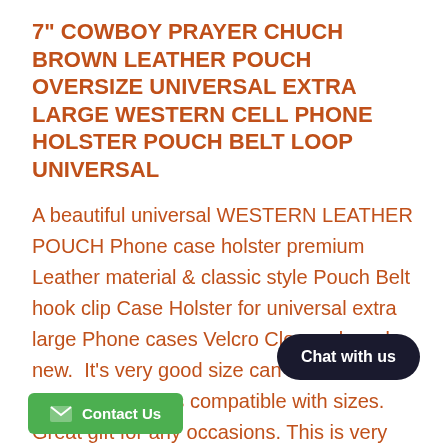7" COWBOY PRAYER CHUCH BROWN LEATHER POUCH OVERSIZE UNIVERSAL EXTRA LARGE WESTERN CELL PHONE HOLSTER POUCH BELT LOOP UNIVERSAL
A beautiful universal WESTERN LEATHER POUCH Phone case holster premium Leather material & classic style Pouch Belt hook clip Case Holster for universal extra large Phone cases Velcro Closure brand new.  It's very good size can be used for any phone that is compatible with sizes.  Great gift for any occasions. This is very classy case with a high quality feel to it.  It is very easy to [Chat with us overlay] [Contact Us overlay] u can pop the phone out, it also addition to the belt clip for added